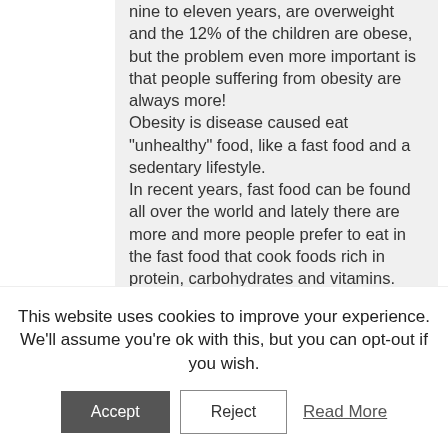nine to eleven years, are overweight and the 12% of the children are obese, but the problem even more important is that people suffering from obesity are always more! Obesity is disease caused eat "unhealthy" food, like a fast food and a sedentary lifestyle. In recent years, fast food can be found all over the world and lately there are more and more people prefer to eat in the fast food that cook foods rich in protein, carbohydrates and vitamins. In Pordenone there are two important fast food, one of these is a MacDonald. Lately the MacDonald are around the world, only in Italy there are 411 MacDonald and in the world wide there are 98000 of this famous fast food. I admit that I'm going sometimes to eat to the
This website uses cookies to improve your experience. We'll assume you're ok with this, but you can opt-out if you wish.